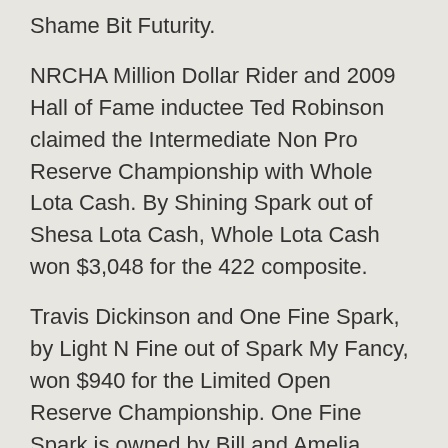Shame Bit Futurity.
NRCHA Million Dollar Rider and 2009 Hall of Fame inductee Ted Robinson claimed the Intermediate Non Pro Reserve Championship with Whole Lota Cash. By Shining Spark out of Shesa Lota Cash, Whole Lota Cash won $3,048 for the 422 composite.
Travis Dickinson and One Fine Spark, by Light N Fine out of Spark My Fancy, won $940 for the Limited Open Reserve Championship. One Fine Spark is owned by Bill and Amelia Dickinson.
Ron Ralls won the Open Hackamore Horse Show class on Ima Smokin Mister for owners Shannon and Hershel Reid. The 292.5 total resulted in a $4,260 payday.
“I didn’t get him shown in the herd work of the